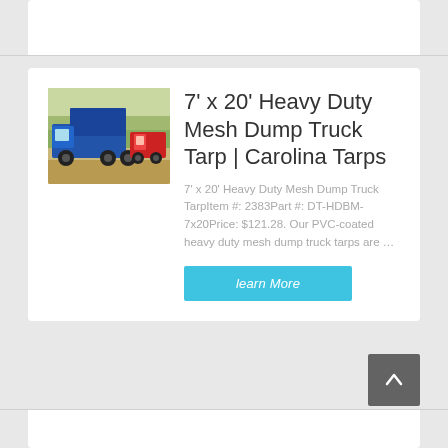[Figure (photo): Blue dump truck parked outdoors with another red truck visible in background]
7' x 20' Heavy Duty Mesh Dump Truck Tarp | Carolina Tarps
7' x 20' Heavy Duty Mesh Dump Truck TarpItem #: 2383Part #: DT-HDBM-7x20Price: $121.28. Our PVC-coated heavy duty mesh dump truck tarps are …
learn More